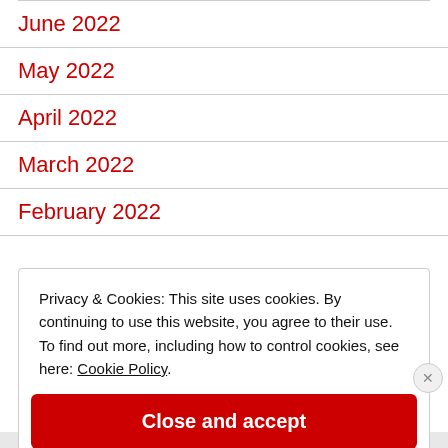June 2022
May 2022
April 2022
March 2022
February 2022
Privacy & Cookies: This site uses cookies. By continuing to use this website, you agree to their use. To find out more, including how to control cookies, see here: Cookie Policy
Close and accept